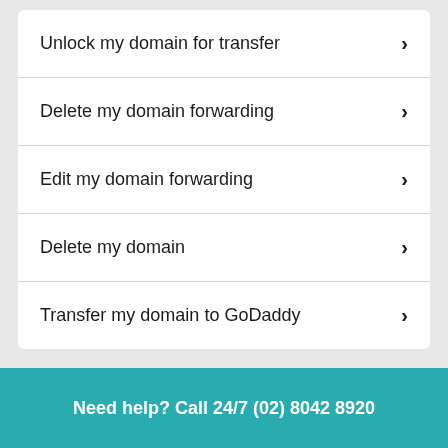Unlock my domain for transfer
Delete my domain forwarding
Edit my domain forwarding
Delete my domain
Transfer my domain to GoDaddy
Need help? Call 24/7 (02) 8042 8920